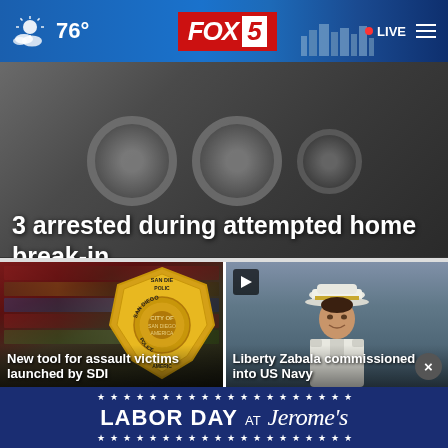76° FOX 5 • LIVE
[Figure (screenshot): Dark background with circular safe/vault door elements]
3 arrested during attempted home break-in
[Figure (photo): San Diego Police badge on left card]
New tool for assault victims launched by SDPD
[Figure (photo): Liberty Zabala in US Navy uniform on right card]
Liberty Zabala commissioned into US Navy
[Figure (infographic): Labor Day at Jerome's advertisement banner with stars]